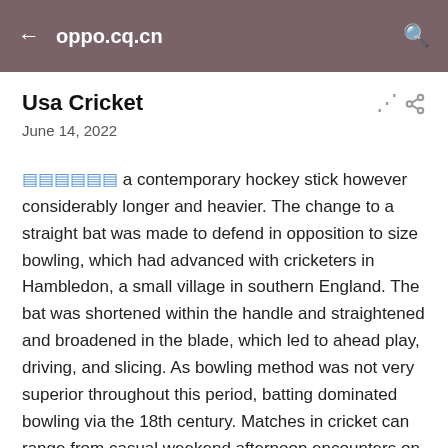oppo.cq.cn
Usa Cricket
June 14, 2022
▓▓▓▓▓▓ a contemporary hockey stick however considerably longer and heavier. The change to a straight bat was made to defend in opposition to size bowling, which had advanced with cricketers in Hambledon, a small village in southern England. The bat was shortened within the handle and straightened and broadened in the blade, which led to ahead play, driving, and slicing. As bowling method was not very superior throughout this period, batting dominated bowling via the 18th century. Matches in cricket can range from casual weekend afternoon encounters on village greens to top-level international